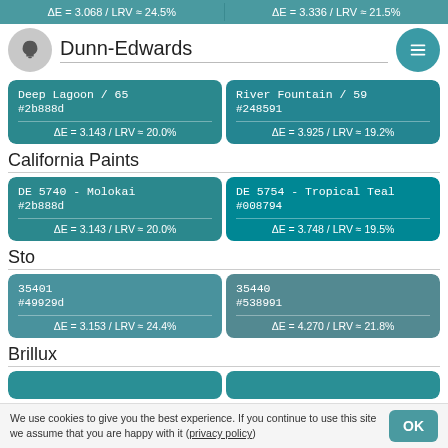ΔE = 3.068 / LRV ≈ 24.5%   |   ΔE = 3.336 / LRV ≈ 21.5%
Dunn-Edwards
| Deep Lagoon / 65 | River Fountain / 59 |
| #2b888d | #248591 |
| ΔE = 3.143 / LRV ≈ 20.0% | ΔE = 3.925 / LRV ≈ 19.2% |
California Paints
| DE 5740 - Molokai | DE 5754 - Tropical Teal |
| #2b888d | #008794 |
| ΔE = 3.143 / LRV ≈ 20.0% | ΔE = 3.748 / LRV ≈ 19.5% |
Sto
| 35401 | 35440 |
| #49929d | #538991 |
| ΔE = 3.153 / LRV ≈ 24.4% | ΔE = 4.270 / LRV ≈ 21.8% |
Brillux
We use cookies to give you the best experience. If you continue to use this site we assume that you are happy with it (privacy policy)